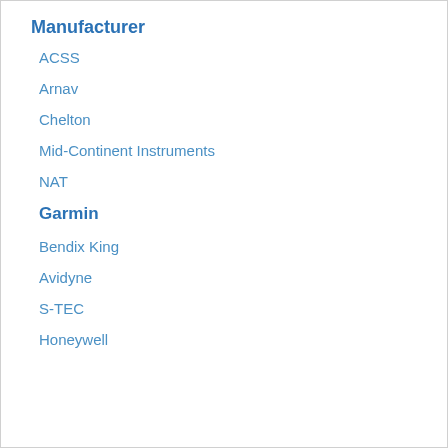Manufacturer
ACSS
Arnav
Chelton
Mid-Continent Instruments
NAT
Garmin
Bendix King
Avidyne
S-TEC
Honeywell